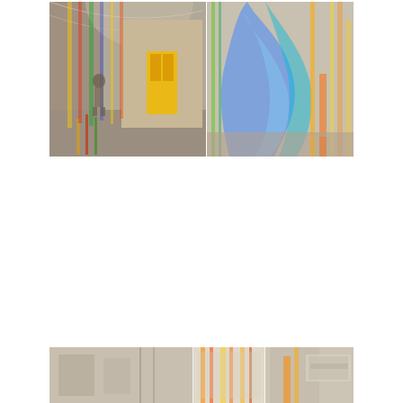[Figure (photo): An art installation in a classical arched corridor. Colorful translucent sheets or films hang from the ceiling, displaying vivid streaks of yellow, red, green, blue, and orange. The left panel shows a person walking through the corridor with a yellow door visible at the end. The right panel shows a close-up of the iridescent hanging sheets with blue and yellow abstract forms.]
[Figure (photo): A partial view of the same or similar colorful art installation, shown at the bottom of the page. The image shows building facades and the colorful hanging translucent elements with orange and red streaks visible.]